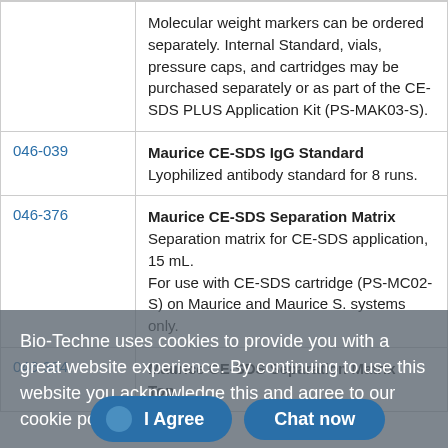| ID | Description |
| --- | --- |
|  | Molecular weight markers can be ordered separately. Internal Standard, vials, pressure caps, and cartridges may be purchased separately or as part of the CE-SDS PLUS Application Kit (PS-MAK03-S). |
| 046-039 | Maurice CE-SDS IgG Standard
Lyophilized antibody standard for 8 runs. |
| 046-376 | Maurice CE-SDS Separation Matrix
Separation matrix for CE-SDS application, 15 mL.
For use with CE-SDS cartridge (PS-MC02-S) on Maurice and Maurice S. systems only. |
| 046-384 | Maurice CE-SDS Separation Matrix Top |
Bio-Techne uses cookies to provide you with a great website experience. By continuing to use this website you acknowledge this and agree to our cookie policy. Learn more